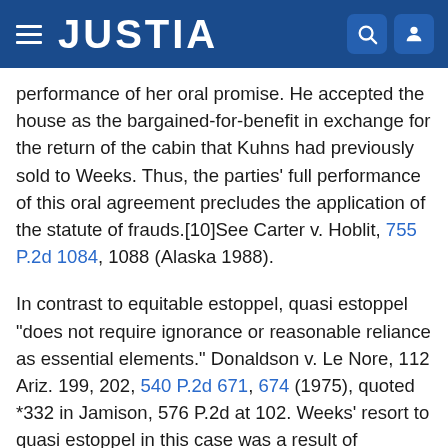JUSTIA
performance of her oral promise. He accepted the house as the bargained-for-benefit in exchange for the return of the cabin that Kuhns had previously sold to Weeks. Thus, the parties' full performance of this oral agreement precludes the application of the statute of frauds.[10]See Carter v. Hoblit, 755 P.2d 1084, 1088 (Alaska 1988).
In contrast to equitable estoppel, quasi estoppel "does not require ignorance or reasonable reliance as essential elements." Donaldson v. Le Nore, 112 Ariz. 199, 202, 540 P.2d 671, 674 (1975), quoted *332 in Jamison, 576 P.2d at 102. Weeks' resort to quasi estoppel in this case was a result of Dressel's record title. Judge Greene's reliance on quasi estoppel illustrates the doctrine's application to divest title in realty in spite of perfect record title.